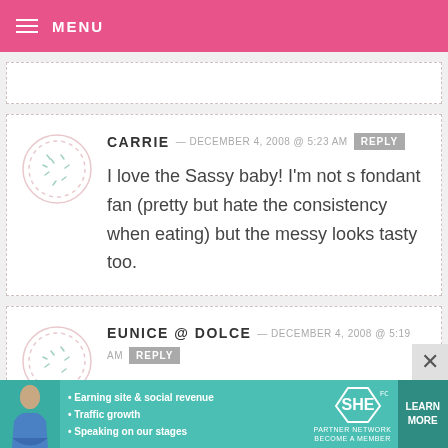MENU
CARRIE — DECEMBER 4, 2008 @ 5:23 AM  REPLY
I love the Sassy baby! I'm not s fondant fan (pretty but hate the consistency when eating) but the messy looks tasty too.
EUNICE @ DOLCE — DECEMBER 4, 2008 @ 5:19 AM  REPLY
[Figure (infographic): SHE Partner Network advertisement banner with woman photo, bullet points about earning site & social revenue, traffic growth, speaking on stages, SHE logo, and Learn More button]